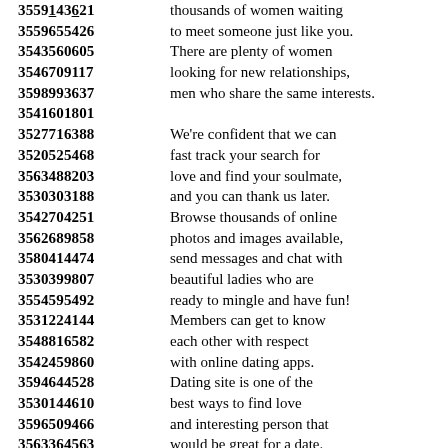3559143621 thousands of women waiting
3559655426 to meet someone just like you.
3543560605 There are plenty of women
3546709117 looking for new relationships,
3598993637 men who share the same interests.
3541601801
3527716388 We're confident that we can
3520525468 fast track your search for
3563488203 love and find your soulmate,
3530303188 and you can thank us later.
3542704251 Browse thousands of online
3562689858 photos and images available,
3580414474 send messages and chat with
3530399807 beautiful ladies who are
3554595492 ready to mingle and have fun!
3531224144 Members can get to know
3548816582 each other with respect
3542459860 with online dating apps.
3594644528 Dating site is one of the
3530144610 best ways to find love
3596509466 and interesting person that
3563364563 would be great for a date.
3529371792 How safe is online dating?
3553610570 Learn how to find solutions.
3515734820 Your complete guide to
3550637279 dating all in one place.